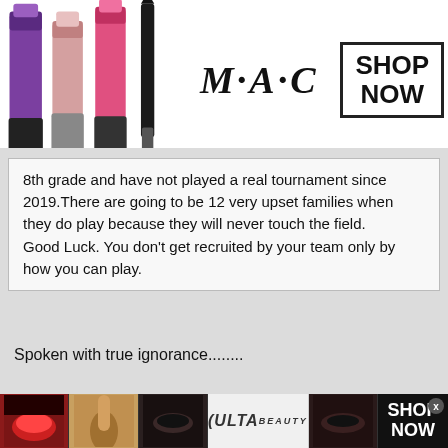[Figure (photo): MAC Cosmetics advertisement banner with lipsticks on left, MAC logo in center, SHOP NOW box, and red lipstick on right]
8th grade and have not played a real tournament since 2019.There are going to be 12 very upset families when they do play because they will never touch the field.
Good Luck. You don't get recruited by your team only by how you can play.
Spoken with true ignorance........
Anonymous #318622
Anonymous
Unregistered
[Figure (photo): Ulta Beauty advertisement banner with makeup images and SHOP NOW button]